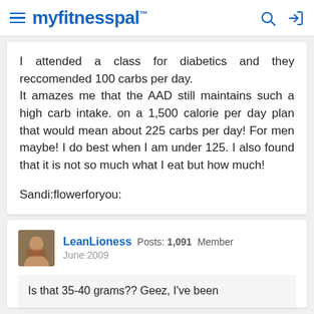myfitnesspal
I attended a class for diabetics and they reccomended 100 carbs per day. It amazes me that the AAD still maintains such a high carb intake. on a 1,500 calorie per day plan that would mean about 225 carbs per day! For men maybe! I do best when I am under 125. I also found that it is not so much what I eat but how much!

Sandi:flowerforyou:
LeanLioness  Posts: 1,091  Member
June 2009
Is that 35-40 grams?? Geez, I've been